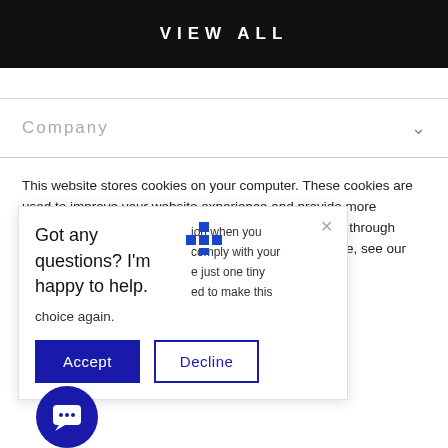VIEW ALL
Company
This website stores cookies on your computer. These cookies are used to improve your website experience and provide more personalized services to you, both on this website and through other media. To find out more about the cookies we use, see our Privacy Policy.
Got any questions? I'm happy to help.
ion when you comply with your e just one tiny ed to make this choice again.
Accept
Decline